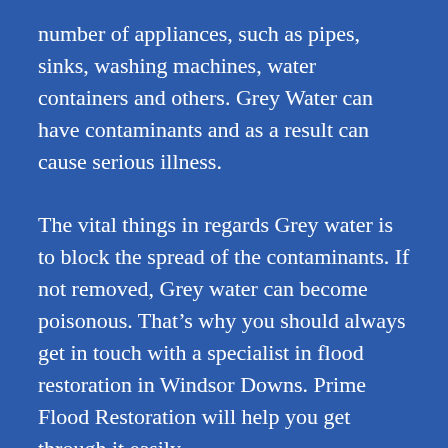number of appliances, such as pipes, sinks, washing machines, water containers and others. Grey Water can have contaminants and as a result can cause serious illness. The vital things in regards Grey water is to block the spread of the contaminants. If not removed, Grey water can become poisonous. That's why you should always get in touch with a specialist in flood restoration in Windsor Downs. Prime Flood Restoration will help you get through it easily.